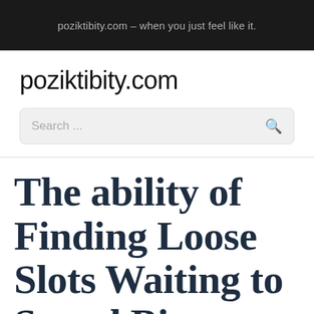poziktibity.com – when you just feel like it.
poziktibity.com
Search ...
The ability of Finding Loose Slots Waiting to Spend Big Payouts